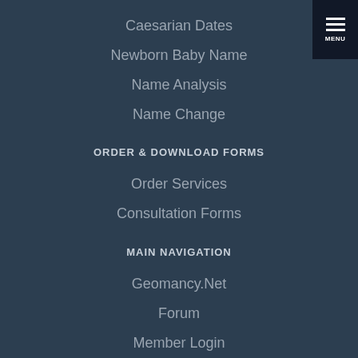Caesarian Dates
Newborn Baby Name
Name Analysis
Name Change
ORDER & DOWNLOAD FORMS
Order Services
Consultation Forms
MAIN NAVIGATION
Geomancy.Net
Forum
Member Login